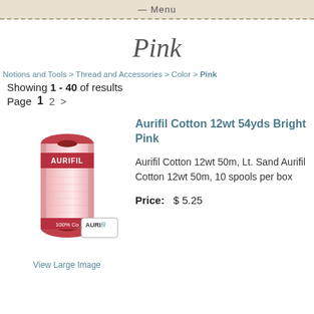— Menu
Pink
Notions and Tools > Thread and Accessories > Color > Pink
Showing 1 - 40 of results
Page  1  2  >
Aurifil Cotton 12wt 54yds Bright Pink
[Figure (photo): Pink spool of Aurifil thread with AURIFIL label, 100% cotton, shown with a logo tag.]
Aurifil Cotton 12wt 50m, Lt. Sand Aurifil Cotton 12wt 50m, 10 spools per box
Price:   $ 5.25
View Large Image